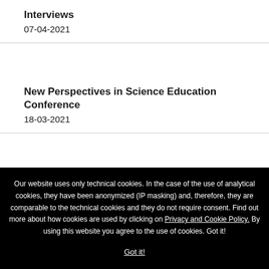Interviews
07-04-2021
New Perspectives in Science Education Conference
18-03-2021
Best Practices
Our website uses only technical cookies. In the case of the use of analytical cookies, they have been anonymized (IP masking) and, therefore, they are comparable to the technical cookies and they do not require consent. Find out more about how cookies are used by clicking on Privacy and Cookie Policy. By using this website you agree to the use of cookies. Got it!
Got it!